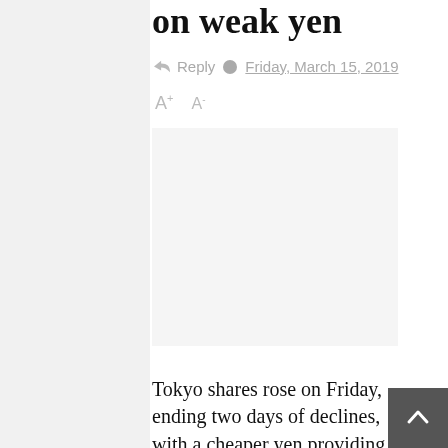on weak yen
Reply   Friday, March 15, 2019
A+ A-
[Figure (other): Advertisement or empty image placeholder area]
Tokyo shares rose on Friday, ending two days of declines, with a cheaper yen providing support and investors brushing off a downbeat central bank